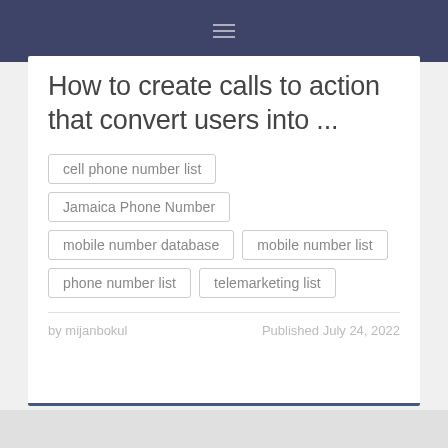How to create calls to action that convert users into ...
cell phone number list
Jamaica Phone Number
mobile number database
mobile number list
phone number list
telemarketing list
by mijanbokul
Published July 24, 2022